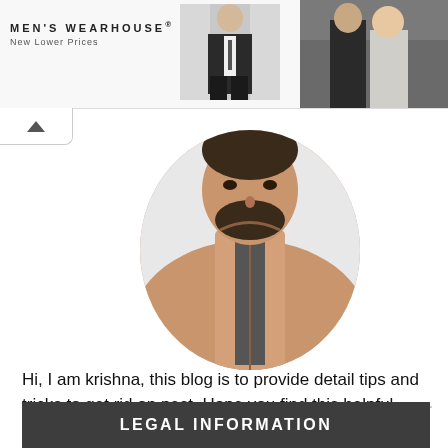[Figure (screenshot): Men's Wearhouse advertisement banner with logo on left, man in suit in center, couple in formal wear on right]
[Figure (photo): Profile photo of a man wearing a tan/beige leather jacket, cropped circular, showing face and upper torso]
Hi, I am krishna, this blog is to provide detail tips and tricks to get rid on pest .Hope you find this helpful.
LEGAL INFORMATION